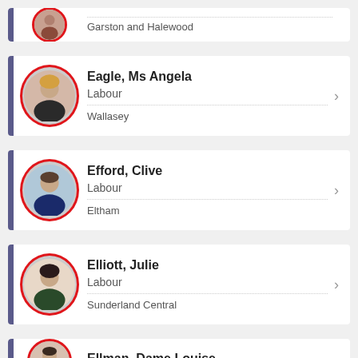Garston and Halewood (partial card, top)
Eagle, Ms Angela — Labour — Wallasey
Efford, Clive — Labour — Eltham
Elliott, Julie — Labour — Sunderland Central
Ellman, Dame Louise (partial card, bottom)